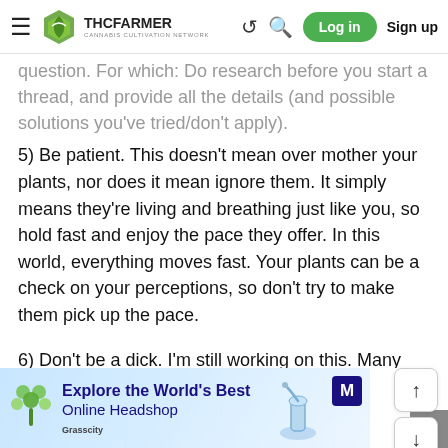THCFarmer – Cannabis Cultivation Network | Log in | Sign up
question. For which: Do research before you start a thread, and provide all the details (and possible solutions you've tried/don't apply).
5) Be patient. This doesn't mean over mother your plants, nor does it mean ignore them. It simply means they're living and breathing just like you, so hold fast and enjoy the pace they offer. In this world, everything moves fast. Your plants can be a check on your perceptions, so don't try to make them pick up the pace.
6) Don't be a dick. I'm still working on this. Many here know I'm liable to pop off for seemingly no reason and when it happens, I dig in. Don't be like me.
[Figure (infographic): Grasscity advertisement banner: Explore the World's Best Online Headshop]